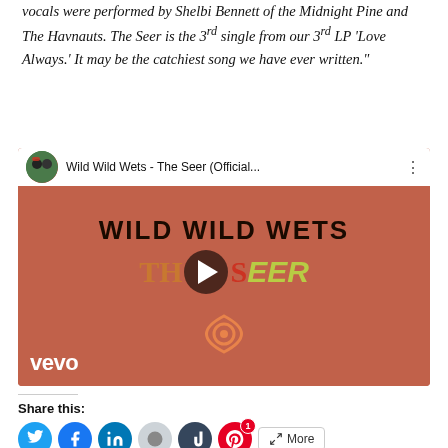vocals were performed by Shelbi Bennett of the Midnight Pine and The Havnauts. The Seer is the 3rd single from our 3rd LP ‘Love Always.’ It may be the catchiest song we have ever written.”
[Figure (screenshot): YouTube video embed showing Wild Wild Wets - The Seer (Official...) with band avatar, video title bar, reddish-brown background with WILD WILD WETS and THE SEER text, play button, eye logo, and vevo watermark]
Share this:
[Figure (infographic): Row of social share icon buttons: Twitter (blue), Facebook (blue), LinkedIn (blue), Reddit (light blue), Tumblr (dark navy), Pinterest (red with notification badge 1), and a More button]